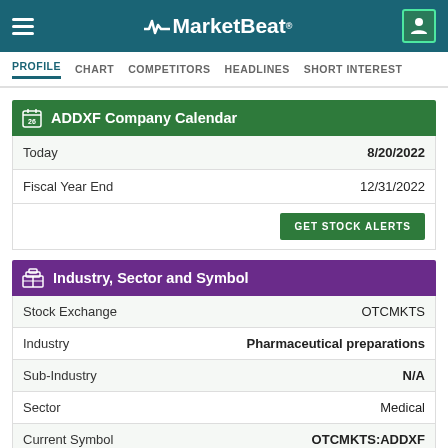MarketBeat
PROFILE  CHART  COMPETITORS  HEADLINES  SHORT INTEREST
ADDXF Company Calendar
|  |  |
| --- | --- |
| Today | 8/20/2022 |
| Fiscal Year End | 12/31/2022 |
GET STOCK ALERTS
Industry, Sector and Symbol
|  |  |
| --- | --- |
| Stock Exchange | OTCMKTS |
| Industry | Pharmaceutical preparations |
| Sub-Industry | N/A |
| Sector | Medical |
| Current Symbol | OTCMKTS:ADDXF |